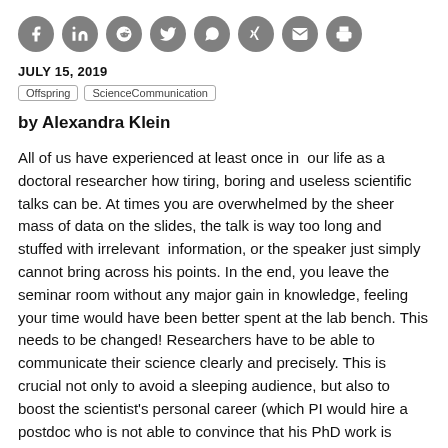[Figure (infographic): Row of 8 social media / sharing icon circles (Facebook, LinkedIn, Reddit, Twitter, WhatsApp, Xing, Email, Print) in grey]
JULY 15, 2019
Offspring   ScienceCommunication
by Alexandra Klein
All of us have experienced at least once in  our life as a doctoral researcher how tiring, boring and useless scientific talks can be. At times you are overwhelmed by the sheer mass of data on the slides, the talk is way too long and stuffed with irrelevant  information, or the speaker just simply cannot bring across his points. In the end, you leave the seminar room without any major gain in knowledge, feeling your time would have been better spent at the lab bench. This needs to be changed! Researchers have to be able to communicate their science clearly and precisely. This is crucial not only to avoid a sleeping audience, but also to boost the scientist's personal career (which PI would hire a postdoc who is not able to convince that his PhD work is actually really interesting?). Furthermore, a good scientific talk can advance scientific